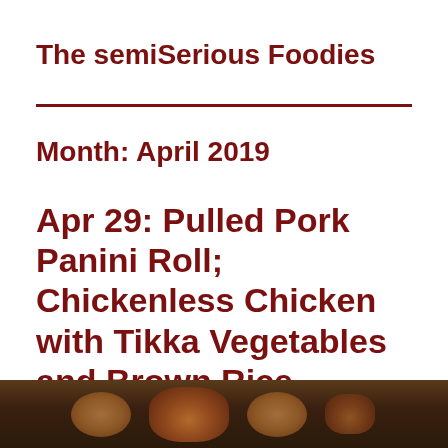The semiSerious Foodies
Month: April 2019
Apr 29: Pulled Pork Panini Roll; Chickenless Chicken with Tikka Vegetables and Brown Rice
[Figure (photo): Food photograph showing a dark bowl or plate with cooked food, partially visible at the bottom of the page]